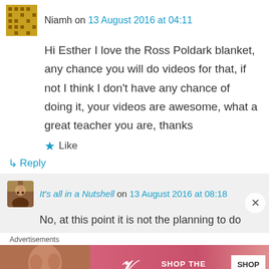Niamh on 13 August 2016 at 04:11
Hi Esther I love the Ross Poldark blanket, any chance you will do videos for that, if not I think I don't have any chance of doing it, your videos are awesome, what a great teacher you are, thanks
Like
Reply
It's all in a Nutshell on 13 August 2016 at 08:18
No, at this point it is not the planning to do
Advertisements
[Figure (photo): Victoria's Secret advertisement banner with a model, VS logo, SHOP THE COLLECTION text and SHOP NOW button]